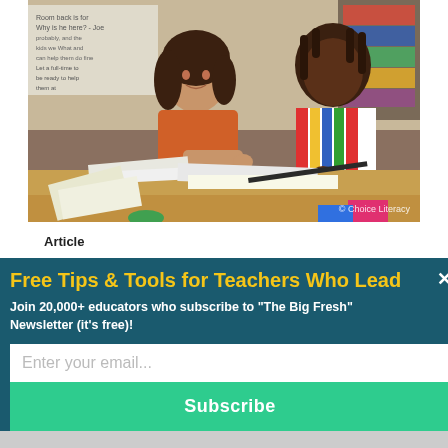[Figure (photo): A teacher in an orange shirt sits at a desk with a young student who is writing. Classroom setting with books and shelves in background. Watermark reads '© Choice Literacy'.]
Article
What Goes in the Writer's Notebook?
Free Tips & Tools for Teachers Who Lead
Join 20,000+ educators who subscribe to "The Big Fresh" Newsletter (it's free)!
Enter your email...
Subscribe